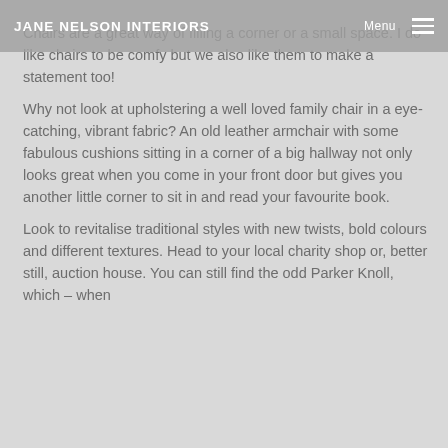JANE NELSON INTERIORS  Menu
Chairs are a great way of filling a corner or a small space. I do like chairs to be comfy but we also like them to make a statement too!
Why not look at upholstering a well loved family chair in a eye-catching, vibrant fabric? An old leather armchair with some fabulous cushions sitting in a corner of a big hallway not only looks great when you come in your front door but gives you another little corner to sit in and read your favourite book.
Look to revitalise traditional styles with new twists, bold colours and different textures. Head to your local charity shop or, better still, auction house. You can still find the odd Parker Knoll, which – when